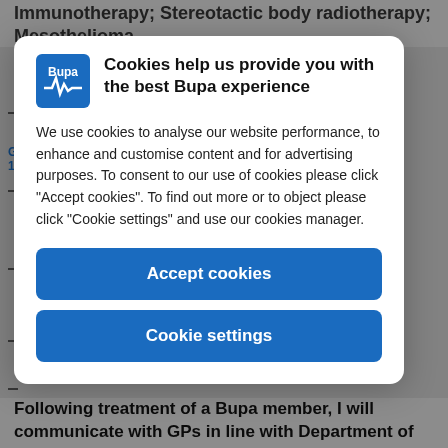Immunotherapy; Stereotactic body radiotherapy; Mesothelioma
[Figure (screenshot): Bupa cookie consent modal dialog with Bupa logo, title 'Cookies help us provide you with the best Bupa experience', body text about cookie usage, and two buttons: 'Accept cookies' and 'Cookie settings']
Following treatment of a Bupa member, I will communicate with GPs in line with Department of